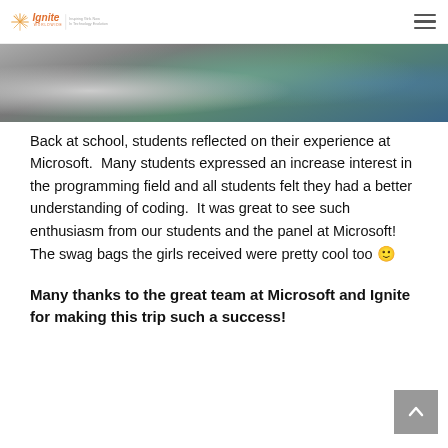Ignite Worldwide — Inspiring Girls Now In Technology Evolution
[Figure (photo): Cropped photo showing students at Microsoft, partial view of people seated at computers or in a tech environment]
Back at school, students reflected on their experience at Microsoft.  Many students expressed an increase interest in the programming field and all students felt they had a better understanding of coding.  It was great to see such enthusiasm from our students and the panel at Microsoft! The swag bags the girls received were pretty cool too 🙂
Many thanks to the great team at Microsoft and Ignite for making this trip such a success!